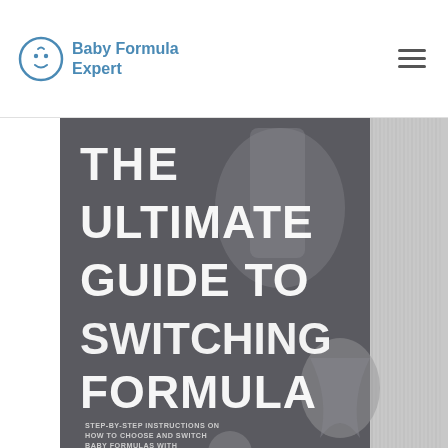Baby Formula Expert
[Figure (photo): Book cover tilted at an angle showing 'THE ULTIMATE GUIDE TO SWITCHING FORMULA' with subtitle 'STEP-BY-STEP INSTRUCTIONS ON HOW TO CHOOSE AND SWITCH BABY FORMULAS WITH CONFIDENCE!' by Dr. Bridget Young, Phd, CLC. The book has a dark gray cover with white and blue text. The Baby Formula Expert logo is visible at the bottom. The book pages/spine are visible on the right side.]